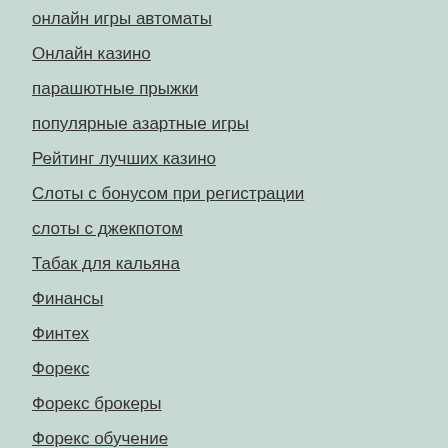онлайн игры автоматы
Онлайн казино
парашютные прыжки
популярные азартные игры
Рейтинг лучших казино
Слоты с бонусом при регистрации
слоты с джекпотом
Табак для кальяна
Финансы
Финтех
Форекс
Форекс брокеры
Форекс обучение